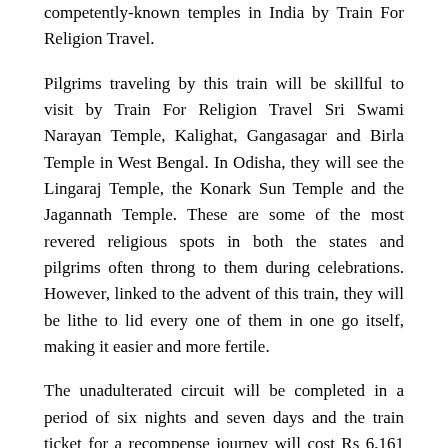competently-known temples in India by Train For Religion Travel.
Pilgrims traveling by this train will be skillful to visit by Train For Religion Travel Sri Swami Narayan Temple, Kalighat, Gangasagar and Birla Temple in West Bengal. In Odisha, they will see the Lingaraj Temple, the Konark Sun Temple and the Jagannath Temple. These are some of the most revered religious spots in both the states and pilgrims often throng to them during celebrations. However, linked to the advent of this train, they will be lithe to lid every one of them in one go itself, making it easier and more fertile.
The unadulterated circuit will be completed in a period of six nights and seven days and the train ticket for a recompense journey will cost Rs 6,161 per person. The Aastha Tourist Circuit Train is an affordable mannerism for a pilgrimage in eastern India. You will have to scrap cassette your stay as the package does not partner happening that as of now. ALSO SEE Mahaparnivaran Express will meet the expense of you the best